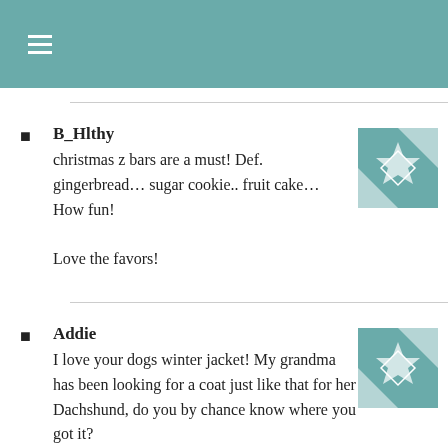≡
B_Hlthy
christmas z bars are a must! Def. gingerbread… sugar cookie.. fruit cake… How fun!

Love the favors!
Addie
I love your dogs winter jacket! My grandma has been looking for a coat just like that for her Dachshund, do you by chance know where you got it? Love your blog!